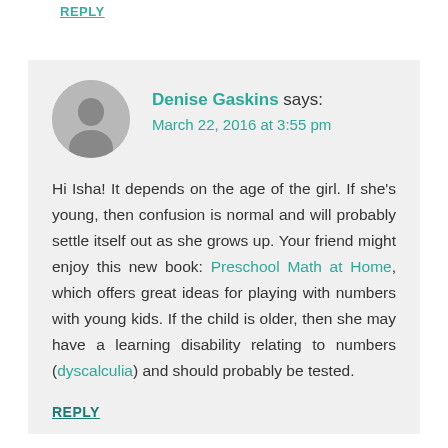REPLY
Denise Gaskins says:
March 22, 2016 at 3:55 pm
Hi Isha! It depends on the age of the girl. If she's young, then confusion is normal and will probably settle itself out as she grows up. Your friend might enjoy this new book: Preschool Math at Home, which offers great ideas for playing with numbers with young kids. If the child is older, then she may have a learning disability relating to numbers (dyscalculia) and should probably be tested.
REPLY